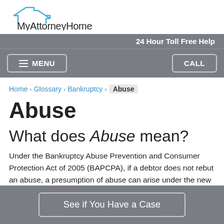[Figure (logo): MyAttorneyHome logo with house outline in blue and black text]
24 Hour Toll Free Help
MENU   CALL
Home › Glossary › Bankruptcy › Abuse
Abuse
What does Abuse mean?
Under the Bankruptcy Abuse Prevention and Consumer Protection Act of 2005 (BAPCPA), if a debtor does not rebut an abuse, a presumption of abuse can arise under the new Chapter 7 Means
See if You Have a Case